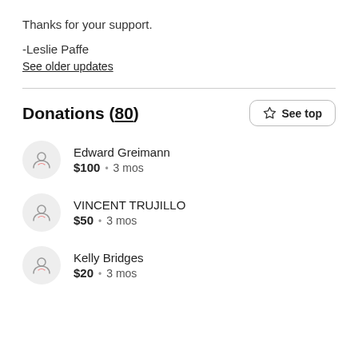Thanks for your support.
-Leslie Paffe
See older updates
Donations (80)
Edward Greimann  $100  •  3 mos
VINCENT TRUJILLO  $50  •  3 mos
Kelly Bridges  $20  •  3 mos